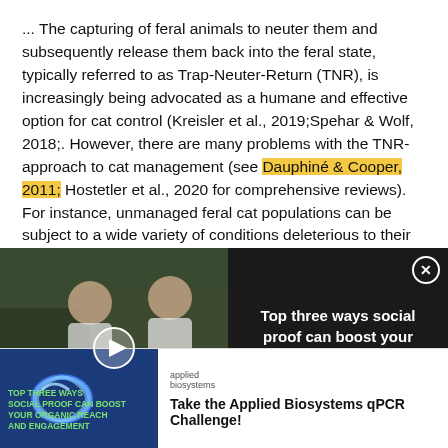... The capturing of feral animals to neuter them and subsequently release them back into the feral state, typically referred to as Trap-Neuter-Return (TNR), is increasingly being advocated as a humane and effective option for cat control (Kreisler et al., 2019;Spehar & Wolf, 2018;. However, there are many problems with the TNR-approach to cat management (see Dauphiné & Cooper, 2011; Hostetler et al., 2020 for comprehensive reviews). For instance, unmanaged feral cat populations can be subject to a wide variety of conditions deleterious to their health caused by the lack of preventative or emergency care and the consumption of garbage (Crawford et al.,
[Figure (screenshot): Video advertisement overlay on a dark background showing lab scientists, with text 'Top three ways social proof can boost your organic reach and engagement' and a close button]
[Figure (screenshot): Applied Biosystems advertisement banner with infinity logo on blue background and text 'Take the Applied Biosystems qPCR Challenge!']